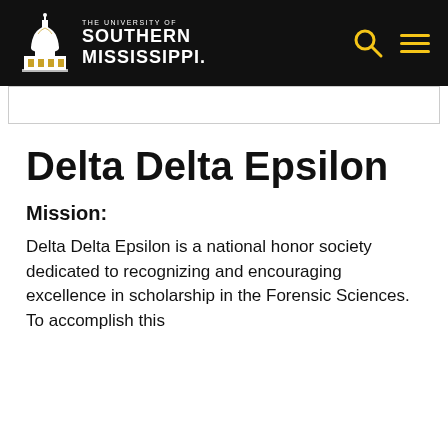THE UNIVERSITY OF SOUTHERN MISSISSIPPI
Delta Delta Epsilon
Mission:
Delta Delta Epsilon is a national honor society dedicated to recognizing and encouraging excellence in scholarship in the Forensic Sciences. To accomplish this